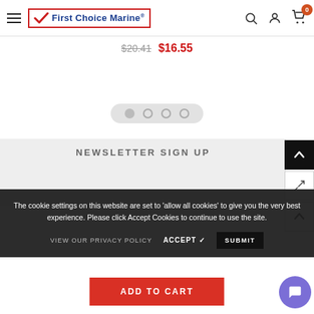[Figure (screenshot): First Choice Marine website navigation bar with hamburger menu, logo, search icon, account icon, and cart icon with badge showing 0]
$20.41  $16.55
[Figure (other): Image carousel dot indicators: 4 dots, first filled/active]
NEWSLETTER SIGN UP
The cookie settings on this website are set to 'allow all cookies' to give you the very best experience. Please click Accept Cookies to continue to use the site.
VIEW OUR PRIVACY POLICY   ACCEPT ✓   SUBMIT
ADD TO CART